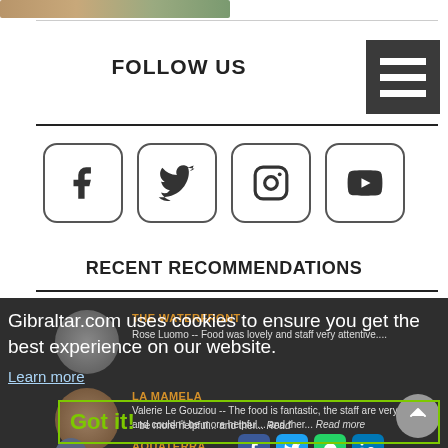[Figure (screenshot): Partial image strip at top left, brownish color]
FOLLOW US
[Figure (other): Hamburger menu icon (3 horizontal bars) in dark grey square]
[Figure (other): Social media icons row: Facebook, Twitter, Instagram, YouTube - each in rounded square border]
RECENT RECOMMENDATIONS
Gibraltar.com uses cookies to ensure you get the best experience on our website.
Learn more
THE WATERFRONT
Rose Luomo -- Food was lovely and staff very attentive....
LA MAMELA
Valerie Le Gouziou -- The food is fantastic, the staff are very friendly and couldn't be more helpful... and ther... Read more
Got it!
AQUATERRA